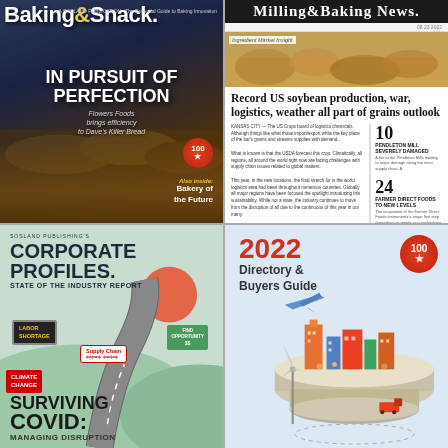[Figure (photo): Baking & Snack magazine cover showing 'IN PURSUIT OF PERFECTION' headline with Flowers Foods and Dave's Killer Bread. Also features 'Bakery of the Future' inside tease. Industrial baking conveyor photo background.]
[Figure (photo): Milling & Baking News magazine page. Ingredient Market Insight section. Headline: 'Record US soybean production, war, logistics, weather all part of grains outlook'. Sidebar numbers: 10 (Pendleton Mill Severely Damaged), 24 (Farmer Direct Foods to New Levels), 28 (McMillan Sees Shift in Bread Buying).]
[Figure (photo): Sosland Publishing Corporate Profiles: State of the Industry Report cover. Road illustration with signs: Labor Shortage, Supply Chain, Climate Change. Bottom text: 'SURVIVING COVID: Managing Disruption'. Teal/green background.]
[Figure (photo): 2022 Directory & Buyers Guide cover with red 100th anniversary logo. Colorful illustrated city/industry scene with wind turbine, airplane, trucks, buildings on a layered cake-like structure.]